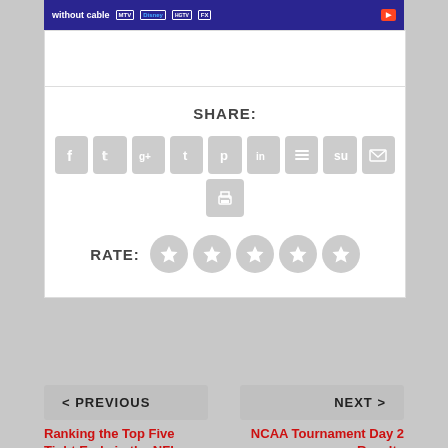[Figure (screenshot): Advertisement banner for Hulu showing 'without cable' text with MTV, Disney, HGTV, FX logos and a red call-to-action button]
SHARE:
[Figure (infographic): Social share buttons row: Facebook, Twitter, Google+, Tumblr, Pinterest, LinkedIn, Buffer, StumbleUpon, Email, and Print icons in gray rounded squares]
RATE:
[Figure (infographic): Five gray star rating circles]
< PREVIOUS
NEXT >
Ranking the Top Five Tight Ends in the NFL
NCAA Tournament Day 2 Results